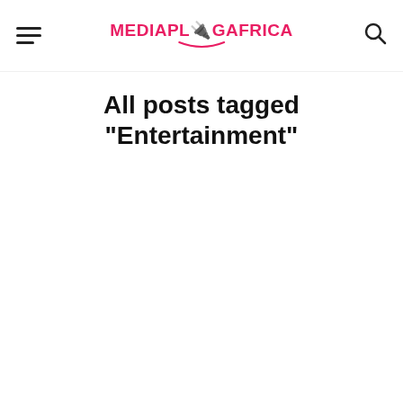MEDIAPLUGGAFRICA
All posts tagged "Entertainment"